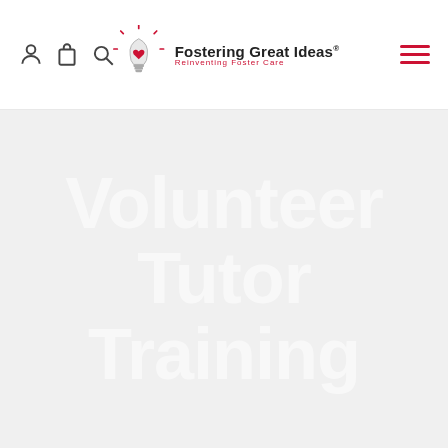Fostering Great Ideas® — Reinventing Foster Care
Volunteer Tutor Training